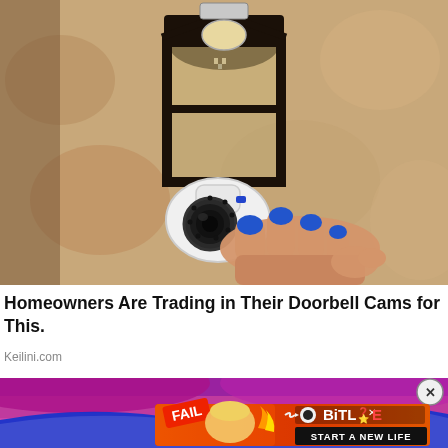[Figure (photo): A hand with blue-painted fingernails holding a white dome security camera, mounted under a black iron lantern fixture on a textured stucco wall]
Homeowners Are Trading in Their Doorbell Cams for This.
Keilini.com
[Figure (photo): Advertisement banner: upper portion shows a person in magenta/pink clothing with a blue wave graphic overlay; lower portion shows a BitLife game advertisement with 'FAIL' badge, animated character, flames, and 'START A NEW LIFE' text on red/orange background]